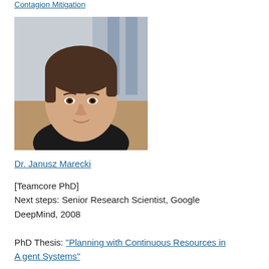Contagion Mitigation
[Figure (photo): Headshot photo of Dr. Janusz Marecki, a young man with short brown hair wearing a dark shirt, photographed against a blurred background with windows.]
Dr. Janusz Marecki
[Teamcore PhD]
Next steps: Senior Research Scientist, Google DeepMind, 2008
PhD Thesis: "Planning with Continuous Resources in Agent Systems"